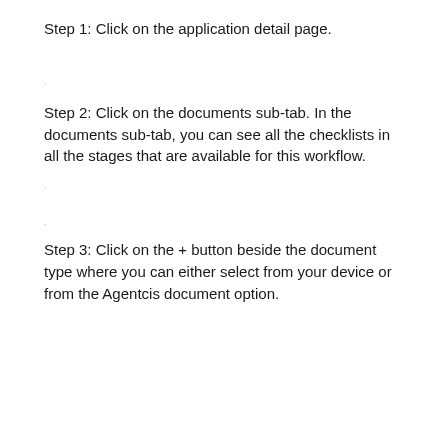Step 1: Click on the application detail page.
Step 2: Click on the documents sub-tab. In the documents sub-tab, you can see all the checklists in all the stages that are available for this workflow.
Step 3: Click on the + button beside the document type where you can either select from your device or from the Agentcis document option.